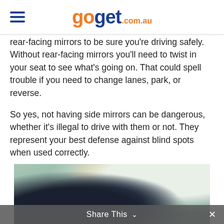goget .com.au
rear-facing mirrors to be sure you're driving safely. Without rear-facing mirrors you'll need to twist in your seat to see what's going on. That could spell trouble if you need to change lanes, park, or reverse.
So yes, not having side mirrors can be dangerous, whether it's illegal to drive with them or not. They represent your best defense against blind spots when used correctly.
[Figure (photo): A person visible through a car window, with a blonde person in the background, outdoor setting with greenery]
Share This ∨  ✕